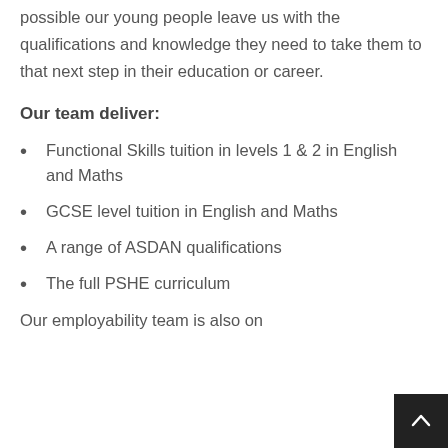possible our young people leave us with the qualifications and knowledge they need to take them to that next step in their education or career.
Our team deliver:
Functional Skills tuition in levels 1 & 2 in English and Maths
GCSE level tuition in English and Maths
A range of ASDAN qualifications
The full PSHE curriculum
Our employability team is also on